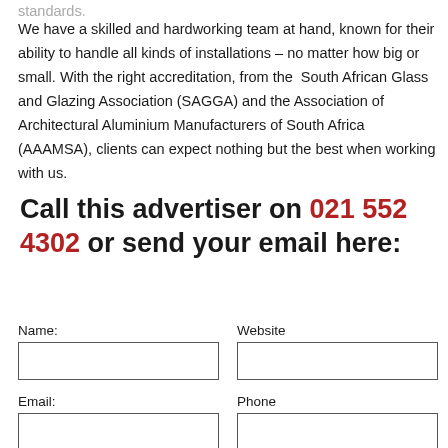standards.
We have a skilled and hardworking team at hand, known for their ability to handle all kinds of installations – no matter how big or small. With the right accreditation, from the South African Glass and Glazing Association (SAGGA) and the Association of Architectural Aluminium Manufacturers of South Africa (AAAMSA), clients can expect nothing but the best when working with us.
Call this advertiser on 021 552 4302 or send your email here:
Name:
Website
Email:
Phone